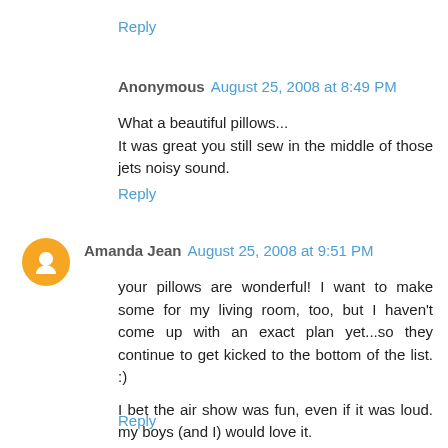Reply
Anonymous August 25, 2008 at 8:49 PM
What a beautiful pillows...
It was great you still sew in the middle of those jets noisy sound.
Reply
Amanda Jean August 25, 2008 at 9:51 PM
your pillows are wonderful! I want to make some for my living room, too, but I haven't come up with an exact plan yet...so they continue to get kicked to the bottom of the list. :)

I bet the air show was fun, even if it was loud. my boys (and I) would love it.
Reply